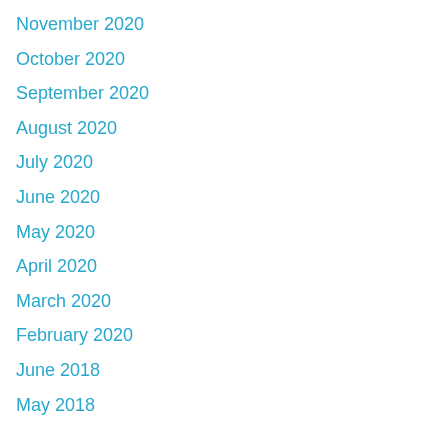November 2020
October 2020
September 2020
August 2020
July 2020
June 2020
May 2020
April 2020
March 2020
February 2020
June 2018
May 2018